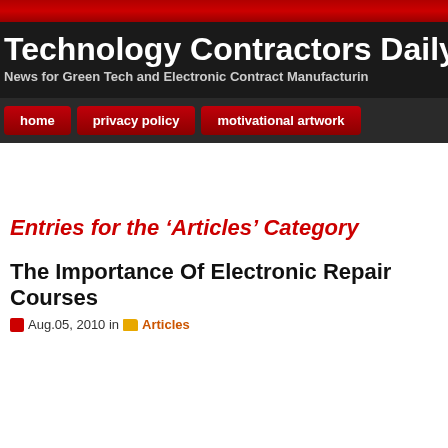Technology Contractors Daily N
News for Green Tech and Electronic Contract Manufacturin
home | privacy policy | motivational artwork
Entries for the ‘Articles’ Category
The Importance Of Electronic Repair Courses
Aug.05, 2010 in Articles